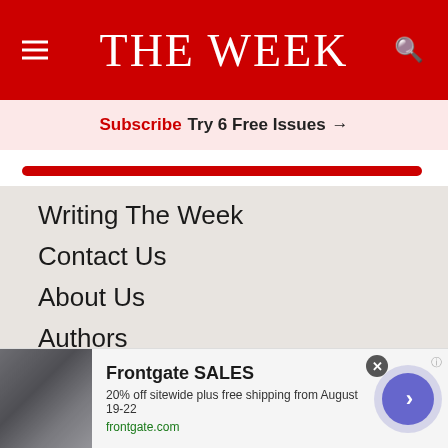THE WEEK
Subscribe Try 6 Free Issues →
Writing The Week
Contact Us
About Us
Authors
Privacy Policy
Cookie Policy
Kiplinger
[Figure (other): Advertisement banner for Frontgate SALES: 20% off sitewide plus free shipping from August 19-22. frontgate.com. Shows outdoor patio furniture with a fire pit.]